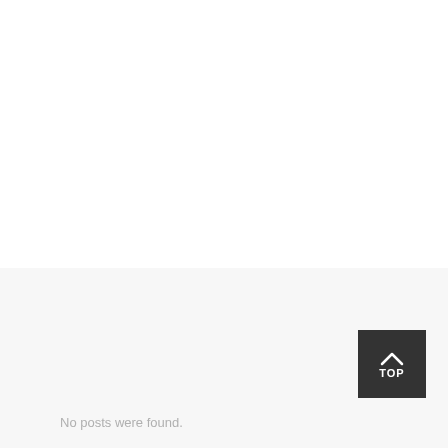[Figure (other): Dark square button with upward chevron arrow and the word TOP in white text on dark background]
No posts were found.